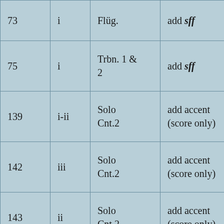| 73 | i | Flüg. | add sff |
| 75 | i | Trbn. 1 & 2 | add sff |
| 139 | i-ii | Solo
Cnt.2 | add accent
(score only) |
| 142 | iii | Solo
Cnt.2 | add accent
(score only) |
| 143 | ii | Solo
Cnt.2 | add accent
(score only) |
| 144 | ii | Solo | add accent |